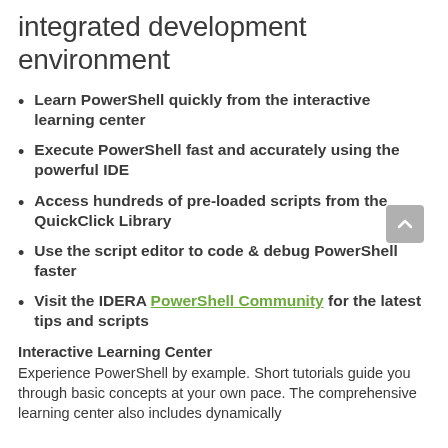integrated development environment
Learn PowerShell quickly from the interactive learning center
Execute PowerShell fast and accurately using the powerful IDE
Access hundreds of pre-loaded scripts from the QuickClick Library
Use the script editor to code & debug PowerShell faster
Visit the IDERA PowerShell Community for the latest tips and scripts
Interactive Learning Center
Experience PowerShell by example. Short tutorials guide you through basic concepts at your own pace. The comprehensive learning center also includes dynamically